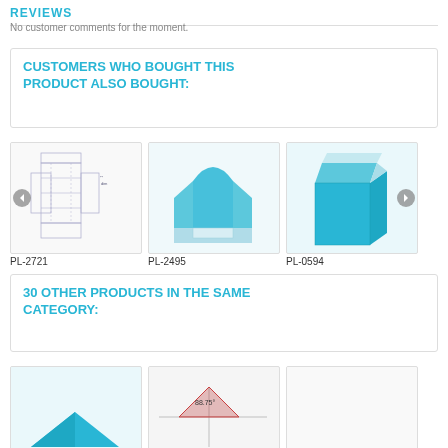REVIEWS
No customer comments for the moment.
CUSTOMERS WHO BOUGHT THIS PRODUCT ALSO BOUGHT:
[Figure (illustration): Technical box die-cut drawing PL-2721]
PL-2721
[Figure (illustration): 3D render of open display tray box PL-2495 in cyan/grey]
PL-2495
[Figure (illustration): 3D render of open-top box PL-0594 in cyan]
PL-0594
30 OTHER PRODUCTS IN THE SAME CATEGORY:
[Figure (illustration): Partial product image bottom left]
[Figure (illustration): Partial product image bottom center with dimension 88.75]
[Figure (illustration): Partial product image bottom right]